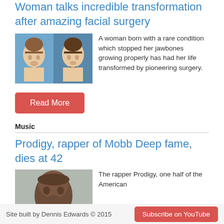Woman talks incredible transformation after amazing facial surgery
[Figure (photo): Before and after photos of a woman who had facial surgery, showing two frontal face portraits side by side against a blue background]
A woman born with a rare condition which stopped her jawbones growing properly has had her life transformed by pioneering surgery.
Read More
Music
Prodigy, rapper of Mobb Deep fame, dies at 42
[Figure (photo): Close-up photo of a person's face, representing the rapper Prodigy]
The rapper Prodigy, one half of the American
Site built by Dennis Edwards © 2015 | Subscribe on YouTube